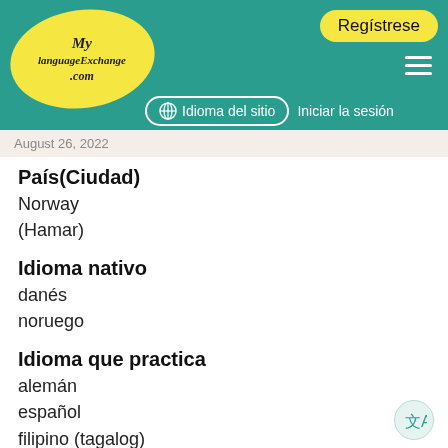[Figure (logo): MyLanguageExchange.com logo — yellow oval with cursive text on teal header]
Regístrese | Idioma del sitio | Iniciar la sesión
August 26, 2022
País(Ciudad)
Norway
(Hamar)
Idioma nativo
danés
noruego
Idioma que practica
alemán
español
filipino (tagalog)
suajili
Descripción
Hi. I would like to practise language. English, german and spanish. My spanish is very...